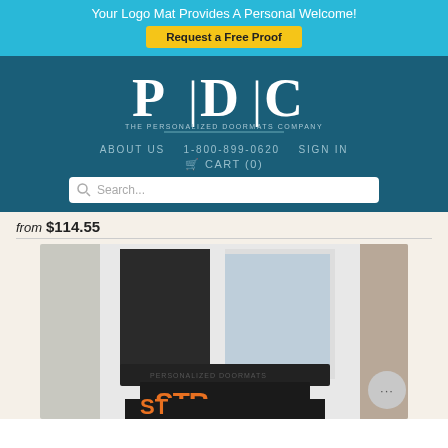Your Logo Mat Provides A Personal Welcome!
Request a Free Proof
[Figure (logo): PDC - The Personalized Doormats Company logo in white on teal background]
ABOUT US   1-800-899-0620   SIGN IN
🛒 CART (0)
Search...
from $114.55
[Figure (photo): Photo of a custom logo doormat with STR branding in orange and white on black, placed at a building entrance door with white frame and stone wall]